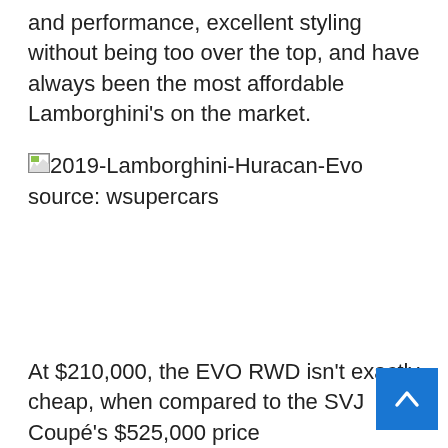and performance, excellent styling without being too over the top, and have always been the most affordable Lamborghini's on the market.
[Figure (photo): Broken image placeholder showing filename '2019-Lamborghini-Huracan-Evo' with source credit 'source: wsupercars']
At $210,000, the EVO RWD isn't exactly cheap, when compared to the SVJ Coupé's $525,000 price